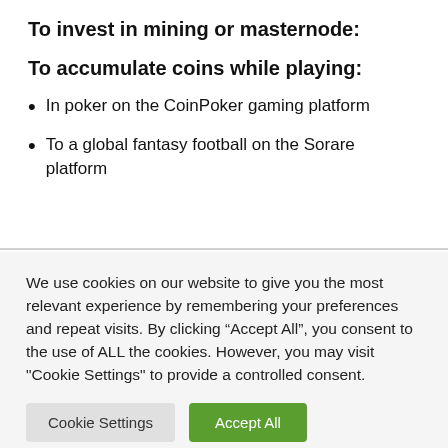To invest in mining or masternode:
To accumulate coins while playing:
In poker on the CoinPoker gaming platform
To a global fantasy football on the Sorare platform
We use cookies on our website to give you the most relevant experience by remembering your preferences and repeat visits. By clicking “Accept All”, you consent to the use of ALL the cookies. However, you may visit “Cookie Settings” to provide a controlled consent.
Cookie Settings | Accept All